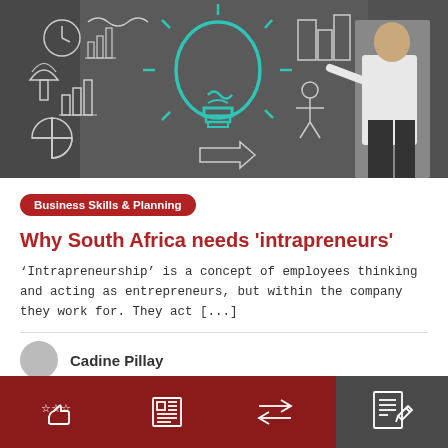[Figure (photo): Chalkboard with business concept drawings (charts, pie chart, clock, light bulb glowing in teal/cyan) and a businessman in white shirt on right side looking at the board]
Business Skills & Planning
Why South Africa needs 'intrapreneurs'
'Intrapreneurship' is a concept of employees thinking and acting as entrepreneurs, but within the company they work for. They act [...]
Cadine Pillay